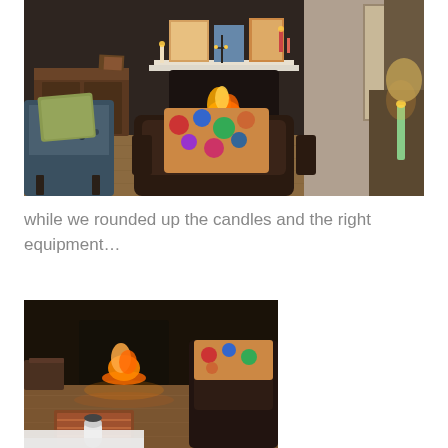[Figure (photo): A cozy living room with a lit fireplace, a dark leather armchair with a colorful patterned pillow, a patterned upholstered chair on the left with a green throw blanket, a wooden dresser, candles on the mantel and side table, art on the mantel, and warm hardwood floors.]
while we rounded up the candles and the right equipment…
[Figure (photo): A close-up photo of the same living room from a lower angle, showing the lit fireplace in the background, a dark leather chair, colorful rug on the floor, and what appears to be a white cylindrical object (possibly a candle or equipment) in the foreground on the hardwood floor.]